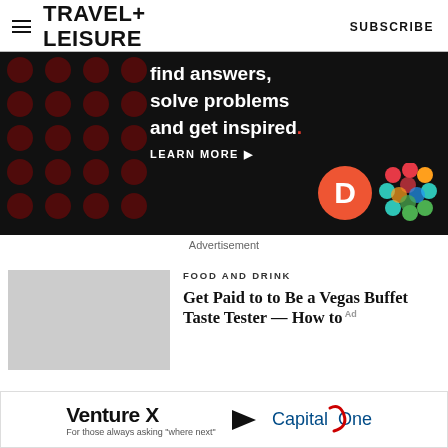TRAVEL+ LEISURE  SUBSCRIBE
[Figure (infographic): Black advertisement banner with dark red dot pattern background. Text reads: 'find answers, solve problems and get inspired.' with a red period. 'LEARN MORE' button with arrow. Doughnut logo in red circle and colorful lattice logo on the right.]
Advertisement
FOOD AND DRINK
Get Paid to to Be a Vegas Buffet Taste Tester — How to Apply
[Figure (infographic): Bottom banner advertisement: Venture X For those always asking 'where next' > Capital One]